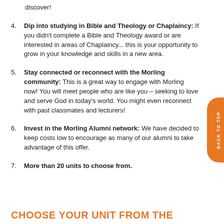discover!
4. Dip into studying in Bible and Theology or Chaplaincy: If you didn't complete a Bible and Theology award or are interested in areas of Chaplaincy... this is your opportunity to grow in your knowledge and skills in a new area.
5. Stay connected or reconnect with the Morling community: This is a great way to engage with Morling now! You will meet people who are like you – seeking to love and serve God in today's world. You might even reconnect with past classmates and lecturers!
6. Invest in the Morling Alumni network: We have decided to keep costs low to encourage as many of our alumni to take advantage of this offer.
7. More than 20 units to choose from.
CHOOSE YOUR UNIT FROM THE